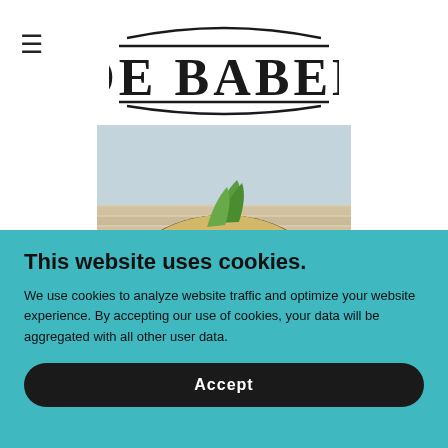DE BABEL
[Figure (photo): A Caesar salad in a dark bowl, with croutons, shredded parmesan cheese, and romaine lettuce, on a light wooden surface]
This website uses cookies.
We use cookies to analyze website traffic and optimize your website experience. By accepting our use of cookies, your data will be aggregated with all other user data.
Accept